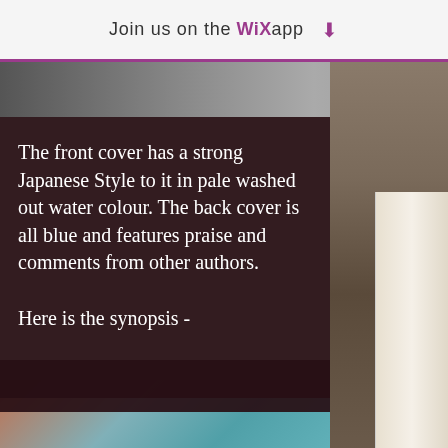Join us on the WiX app ⬇
[Figure (photo): App screenshot with photo of books on a surface, partially visible behind dark overlay and right-side beige book spine panel]
The front cover has a strong Japanese Style to it in pale washed out water colour. The back cover is all blue and features praise and comments from other authors.

Here is the synopsis -